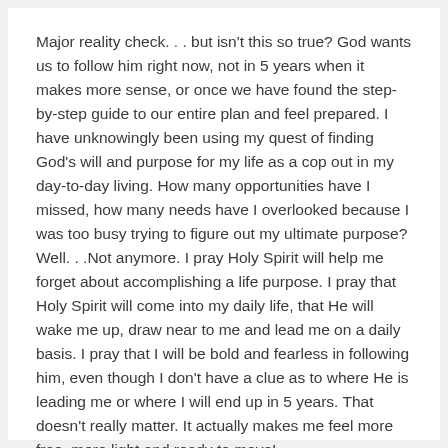Major reality check. . . but isn't this so true? God wants us to follow him right now, not in 5 years when it makes more sense, or once we have found the step-by-step guide to our entire plan and feel prepared. I have unknowingly been using my quest of finding God's will and purpose for my life as a cop out in my day-to-day living. How many opportunities have I missed, how many needs have I overlooked because I was too busy trying to figure out my ultimate purpose? Well. . .Not anymore. I pray Holy Spirit will help me forget about accomplishing a life purpose. I pray that Holy Spirit will come into my daily life, that He will wake me up, draw near to me and lead me on a daily basis. I pray that I will be bold and fearless in following him, even though I don't have a clue as to where He is leading me or where I will end up in 5 years. That doesn't really matter. It actually makes me feel more free, more light and ready to move!